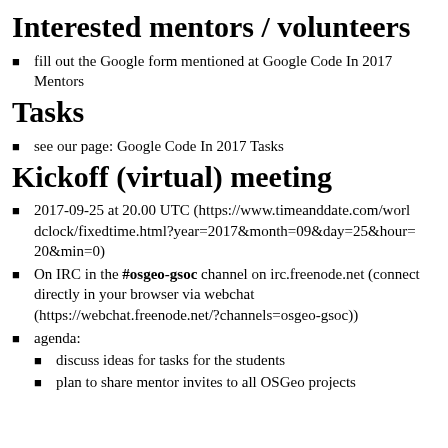Interested mentors / volunteers
fill out the Google form mentioned at Google Code In 2017 Mentors
Tasks
see our page: Google Code In 2017 Tasks
Kickoff (virtual) meeting
2017-09-25 at 20.00 UTC (https://www.timeanddate.com/worldclock/fixedtime.html?year=2017&month=09&day=25&hour=20&min=0)
On IRC in the #osgeo-gsoc channel on irc.freenode.net (connect directly in your browser via webchat (https://webchat.freenode.net/?channels=osgeo-gsoc))
agenda:
discuss ideas for tasks for the students
plan to share mentor invites to all OSGeo projects